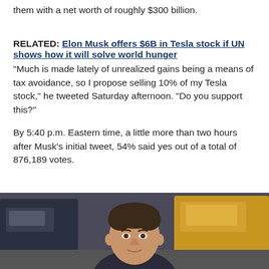them with a net worth of roughly $300 billion.
RELATED: Elon Musk offers $6B in Tesla stock if UN shows how it will solve world hunger
"Much is made lately of unrealized gains being a means of tax avoidance, so I propose selling 10% of my Tesla stock," he tweeted Saturday afternoon. "Do you support this?"
By 5:40 p.m. Eastern time, a little more than two hours after Musk's initial tweet, 54% said yes out of a total of 876,189 votes.
[Figure (photo): Photo of Elon Musk from shoulders up, with vehicles in background]